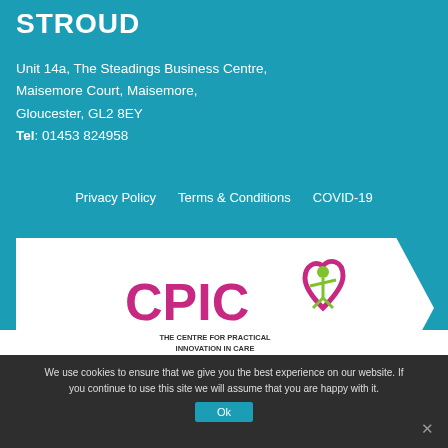STROUD
Unit 14a, The Steadings Business Centre,
Maisemore Court, Maisemore,
Gloucester, GL2 8EY
Tel: 01453 824958
Privacy Policy
Terms & Conditions
COVID-19
[Figure (logo): CPIC - The Centre for Practical Innovation in Care logo with pink heart and green figure]
We use cookies to ensure that we give you the best experience on our website. If you continue to use this site we will assume that you are happy with it.